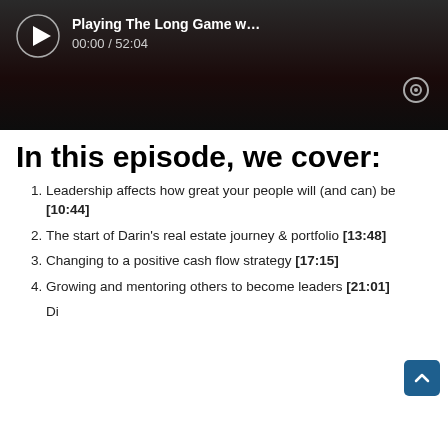[Figure (screenshot): Media player showing 'Playing The Long Game' podcast, time 00:00 / 52:04, dark background with play button and circle icon]
In this episode, we cover:
Leadership affects how great your people will (and can) be [10:44]
The start of Darin's real estate journey & portfolio [13:48]
Changing to a positive cash flow strategy [17:15]
Growing and mentoring others to become leaders [21:01]
Disrupting normal leadership...